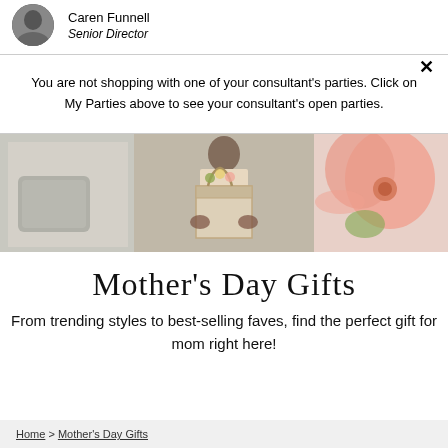Caren Funnell
Senior Director
You are not shopping with one of your consultant's parties. Click on My Parties above to see your consultant's open parties.
[Figure (photo): Banner image showing a gray pillow on the left, a person holding a beige tote bag with flowers in the center, and a pink floral design on the right.]
Mother's Day Gifts
From trending styles to best-selling faves, find the perfect gift for mom right here!
Home > Mother's Day Gifts